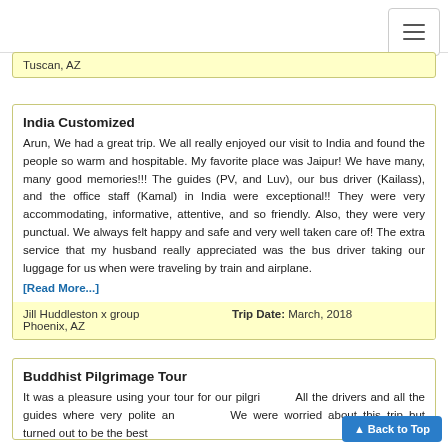Tuscan, AZ
India Customized
Arun, We had a great trip. We all really enjoyed our visit to India and found the people so warm and hospitable. My favorite place was Jaipur! We have many, many good memories!!! The guides (PV, and Luv), our bus driver (Kailass), and the office staff (Kamal) in India were exceptional!! They were very accommodating, informative, attentive, and so friendly. Also, they were very punctual. We always felt happy and safe and very well taken care of! The extra service that my husband really appreciated was the bus driver taking our luggage for us when were traveling by train and airplane.
[Read More...]
Jill Huddleston x group
Phoenix, AZ
Trip Date: March, 2018
Buddhist Pilgrimage Tour
It was a pleasure using your tour for our pilgri... All the drivers and all the guides where very polite an... We were worried about this trip but turned out to be the best